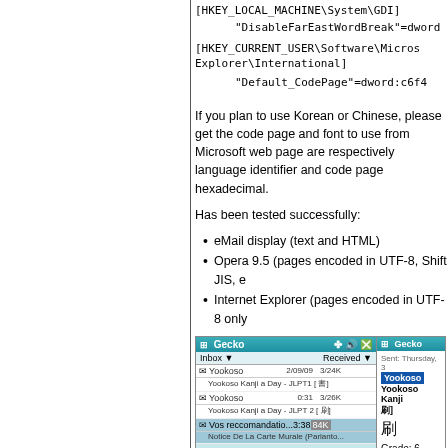[HKEY_LOCAL_MACHINE\System\GDI]
"DisableFarEastWordBreak"=dword:...
[HKEY_CURRENT_USER\Software\Microsoft\Internet Explorer\International]
"Default_CodePage"=dword:c6f4
If you plan to use Korean or Chinese, please get the code page and font to use from Microsoft web pages. ... are respectively language identifier and code page in hexadecimal.
Has been tested successfully:
eMail display (text and HTML)
Opera 9.5 (pages encoded in UTF-8, Shift JIS, e...
Internet Explorer (pages encoded in UTF-8 only...
[Figure (screenshot): Screenshot of Gecko email client showing inbox with Yookoso Kanji emails, and a right pane showing kanji character with Grade: 6, JLPT: 2 information]